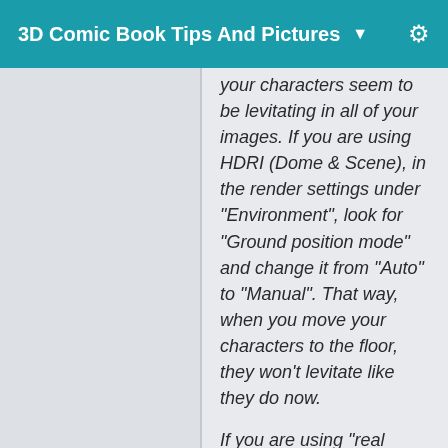3D Comic Book Tips And Pictures ▼
your characters seem to be levitating in all of your images. If you are using HDRI (Dome & Scene), in the render settings under "Environment", look for "Ground position mode" and change it from "Auto" to "Manual". That way, when you move your characters to the floor, they won't levitate like they do now.

If you are using "real ground", it's a good idea to use the perspective view